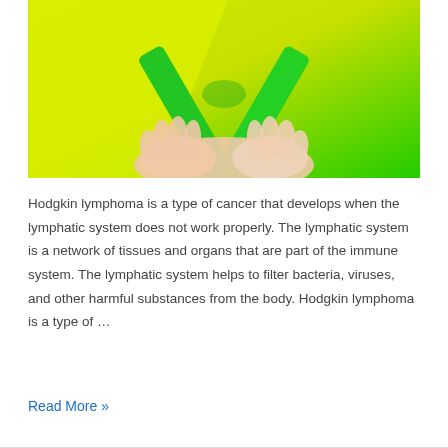[Figure (photo): Hands holding a green awareness ribbon against a yellow-green split background, representing lymphoma awareness.]
Hodgkin lymphoma is a type of cancer that develops when the lymphatic system does not work properly. The lymphatic system is a network of tissues and organs that are part of the immune system. The lymphatic system helps to filter bacteria, viruses, and other harmful substances from the body. Hodgkin lymphoma is a type of …
Read More »